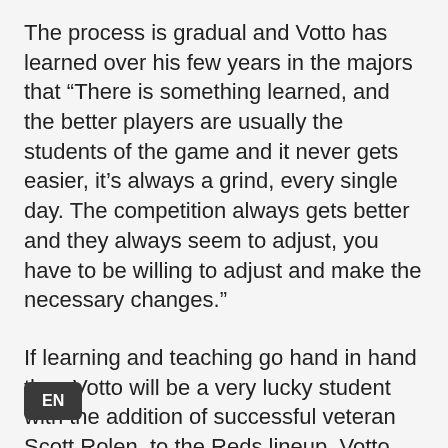The process is gradual and Votto has learned over his few years in the majors that “There is something learned, and the better players are usually the students of the game and it never gets easier, it’s always a grind, every single day. The competition always gets better and they always seem to adjust, you have to be willing to adjust and make the necessary changes.”
If learning and teaching go hand in hand then Votto will be a very lucky student with the addition of successful veteran Scott Rolen, to the Reds lineup. Votto felt that “He’s a very special MLB player who had a special career and he has mounds and mounds of knowledge, and l